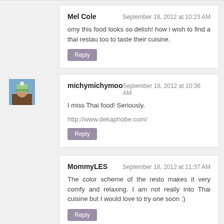Mel Cole
September 18, 2012 at 10:23 AM
omy this food looks so delish! how i wish to find a thai restau too to taste their cuisine.
Reply
[Figure (photo): Avatar photo of michymichymoo — person wearing winter hat outdoors]
michymichymoo
September 18, 2012 at 10:36 AM
I miss Thai food! Seriously.
http://www.dekaphobe.com/
Reply
MommyLES
September 18, 2012 at 11:37 AM
The color scheme of the resto makes it very comfy and relaxing. I am not really into Thai cuisine but I would love to try one soon :)
Reply